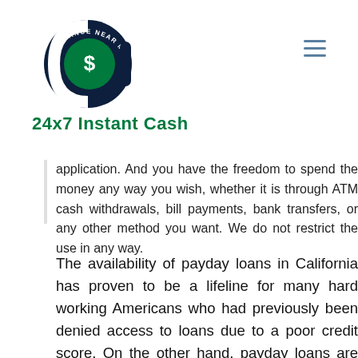[Figure (logo): 24x7 Instant Cash logo — circular dark navy and green emblem with dollar sign, text 'ADVANCE NEAR ME' around the circle, stylized letter 'd' shape]
24x7 Instant Cash
application. And you have the freedom to spend the money any way you wish, whether it is through ATM cash withdrawals, bill payments, bank transfers, or any other method you want. We do not restrict the use in any way.
The availability of payday loans in California has proven to be a lifeline for many hard working Americans who had previously been denied access to loans due to a poor credit score. On the other hand, payday loans are designed to be used just for short-term financial difficulties. They should not be utilized for lengthy periods of time due to the high-interest rates that can quickly accumulate and put you in further financial difficulties. If you are having problems paying